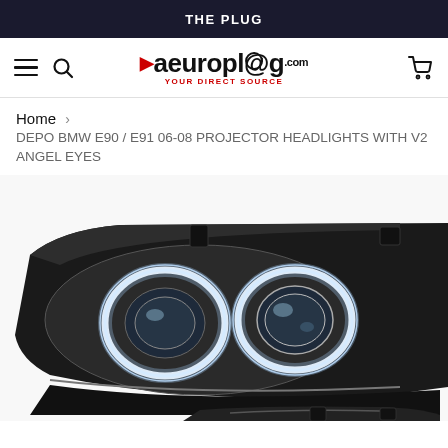THE PLUG
[Figure (logo): aeuroplag.com logo with red play arrow and tagline YOUR DIRECT SOURCE]
Home › DEPO BMW E90 / E91 06-08 PROJECTOR HEADLIGHTS WITH V2 ANGEL EYES
[Figure (photo): BMW E90/E91 projector headlight with V2 angel eyes - white LED rings glowing on black housing, two circular angel eye rings visible, single projector lens in center]